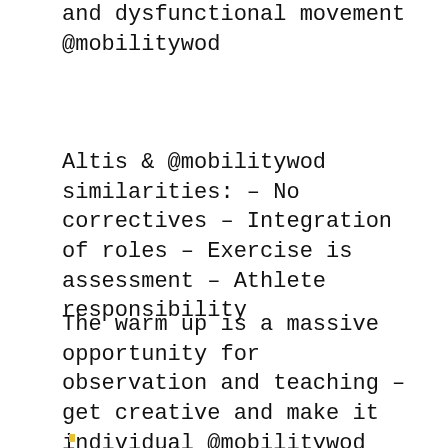and dysfunctional movement @mobilitywod
Altis & @mobilitywod similarities: – No correctives – Integration of roles – Exercise is assessment – Athlete responsibility
The warm up is a massive opportunity for observation and teaching – get creative and make it individual @mobilitywod